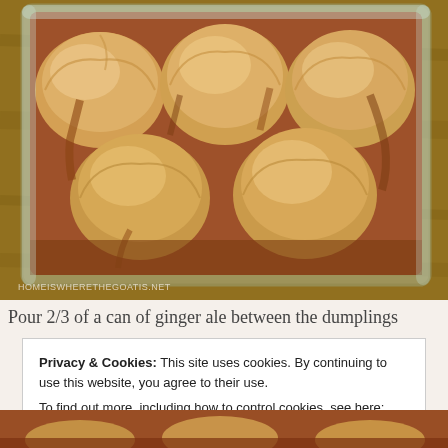[Figure (photo): Overhead view of apple dumplings in a glass baking dish with caramel/brown sugar sauce, on a wooden surface. Watermark reads HOMEISWHERETHEGOATIS.NET]
Pour 2/3 of a can of ginger ale between the dumplings
Privacy & Cookies: This site uses cookies. By continuing to use this website, you agree to their use.
To find out more, including how to control cookies, see here:
Cookie Policy
Close and accept
[Figure (photo): Partial view of another food photo at the bottom of the page]